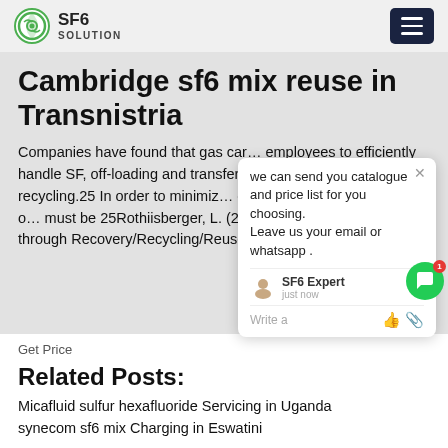SF6 SOLUTION
Cambridge sf6 mix reuse in Transnistria
Companies have found that gas car… employees to efficiently handle SF, off-loading and transferring SF. for m… and recycling.25 In order to minimiz… during the service or disposal o… must be 25Rothiisberger, L. (2009). …on Reductions through Recovery/Recycling/Reuse."
[Figure (screenshot): Chat popup overlay with message: we can send you catalogue and price list for you choosing. Leave us your email or whatsapp. SF6 Expert just now. Write a [thumbs up] [paperclip]]
Get Price
Related Posts:
Micafluid sulfur hexafluoride Servicing in Uganda
synecom sf6 mix Charging in Eswatini